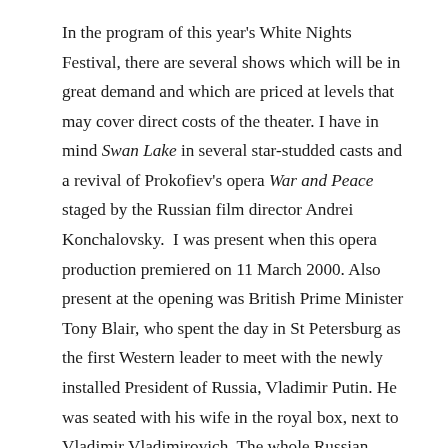In the program of this year's White Nights Festival, there are several shows which will be in great demand and which are priced at levels that may cover direct costs of the theater. I have in mind Swan Lake in several star-studded casts and a revival of Prokofiev's opera War and Peace staged by the Russian film director Andrei Konchalovsky.  I was present when this opera production premiered on 11 March 2000. Also present at the opening was British Prime Minister Tony Blair, who spent the day in St Petersburg as the first Western leader to meet with the newly installed President of Russia, Vladimir Putin. He was seated with his wife in the royal box, next to Vladimir Vladimirovich. The whole Russian government was in attendance and